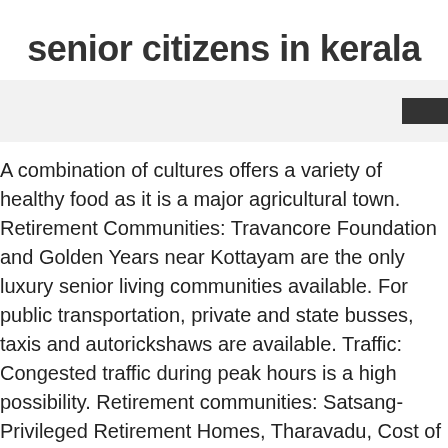senior citizens in kerala
[Figure (other): Gray banner/band with a dark rectangle on the right side]
A combination of cultures offers a variety of healthy food as it is a major agricultural town. Retirement Communities: Travancore Foundation and Golden Years near Kottayam are the only luxury senior living communities available. For public transportation, private and state busses, taxis and autorickshaws are available. Traffic: Congested traffic during peak hours is a high possibility. Retirement communities: Satsang-Privileged Retirement Homes, Tharavadu, Cost of Living: Affordable apartment and villas are available for buying